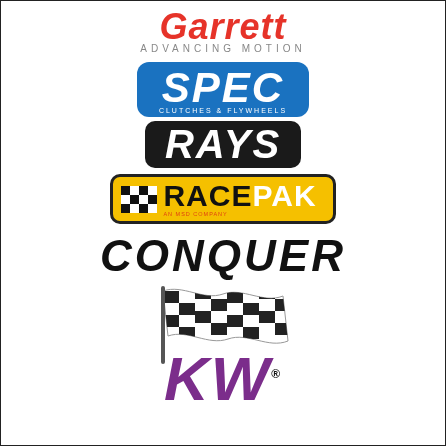[Figure (logo): Garrett Advancing Motion logo — red italic text 'Garrett' with 'ADVANCING MOTION' subtitle in gray]
[Figure (logo): SPEC Clutches & Flywheels logo — white italic bold 'SPEC' text on blue rounded badge with 'CLUTCHES & FLYWHEELS' subtitle]
[Figure (logo): RAYS logo — white bold italic text on black rounded badge]
[Figure (logo): RACEPAK logo — black and yellow badge with checkered flag pattern, 'RACE' in black and 'PAK' in white, 'AN MSD COMPANY' subtitle in red]
[Figure (logo): CONQUER logo — large bold black italic text]
[Figure (logo): KW logo — purple bold italic 'KW' with checkered racing flag graphic overlay and registered trademark symbol]